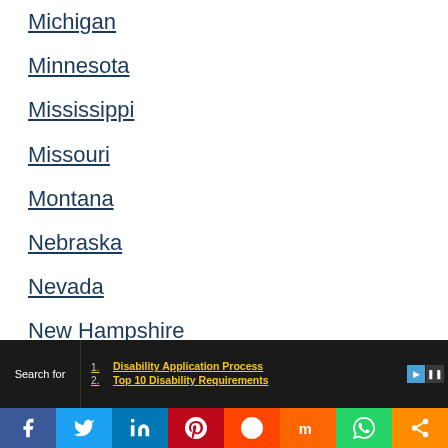Michigan
Minnesota
Mississippi
Missouri
Montana
Nebraska
Nevada
New Hampshire
New Jersey
Search for
1. Disability Application Process
2. Top 10 Disability Requirements